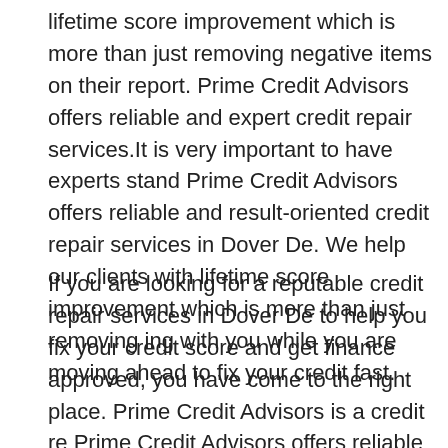lifetime score improvement which is more than just removing negative items on their report. Prime Credit Advisors offers reliable and expert credit repair services.It is very important to have experts stand Prime Credit Advisors offers reliable and result-oriented credit repair services in Dover De. We help our clients with lifetime score improvement which is more than just removing ing with you while you are moving ahead to fix your credit fast.
If you are looking for a reputable credit repair services in Dover De to help you fix your credit score and get finance approved, you have come to the right place. Prime Credit Advisors is a credit re Prime Credit Advisors offers reliable and result-oriented credit repair services in Dover De. We help our clients with lifetime score improvement which is more than just removing pair company with the main focus to help you with credit repair and get your credit to the highest possible. Prime Credit Advisors offers credit repair services